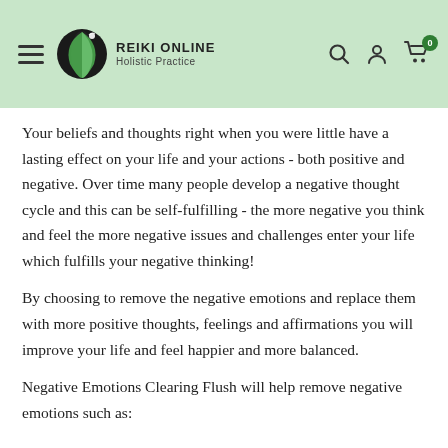REIKI ONLINE Holistic Practice
Your beliefs and thoughts right when you were little have a lasting effect on your life and your actions - both positive and negative. Over time many people develop a negative thought cycle and this can be self-fulfilling - the more negative you think and feel the more negative issues and challenges enter your life which fulfills your negative thinking!
By choosing to remove the negative emotions and replace them with more positive thoughts, feelings and affirmations you will improve your life and feel happier and more balanced.
Negative Emotions Clearing Flush will help remove negative emotions such as: